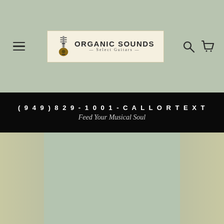Organic Sounds Select Guitars
(949) 829-1001 - CALL OR TEXT
Feed Your Musical Soul
[Figure (screenshot): Faded guitar background image visible on left and right sides behind main content area]